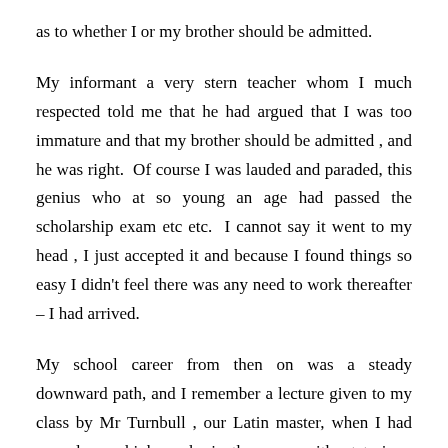as to whether I or my brother should be admitted.
My informant a very stern teacher whom I much respected told me that he had argued that I was too immature and that my brother should be admitted , and he was right.  Of course I was lauded and paraded, this genius who at so young an age had passed the scholarship exam etc etc.  I cannot say it went to my head , I just accepted it and because I found things so easy I didn't feel there was any need to work thereafter – I had arrived.
My school career from then on was a steady downward path, and I remember a lecture given to my class by Mr Turnbull , our Latin master, when I had scored very high marks in the exam without trying.  He told us about spending ones capital